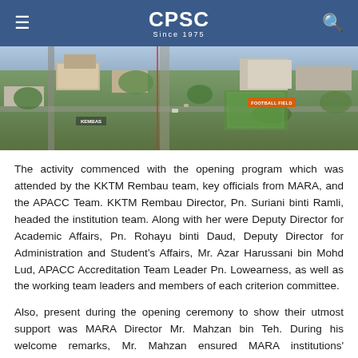CPSC Since 1975
[Figure (photo): Aerial view of KKTM Rembau campus showing buildings, roads, trees, and a football field labeled with an orange marker. A red vertical line/marker is visible near the center.]
The activity commenced with the opening program which was attended by the KKTM Rembau team, key officials from MARA, and the APACC Team. KKTM Rembau Director, Pn. Suriani binti Ramli, headed the institution team. Along with her were Deputy Director for Academic Affairs, Pn. Rohayu binti Daud, Deputy Director for Administration and Student's Affairs, Mr. Azar Harussani bin Mohd Lud, APACC Accreditation Team Leader Pn. Lowearness, as well as the working team leaders and members of each criterion committee.
Also, present during the opening ceremony to show their utmost support was MARA Director Mr. Mahzan bin Teh. During his welcome remarks, Mr. Mahzan ensured MARA institutions' commitment with APACC and looks forward to